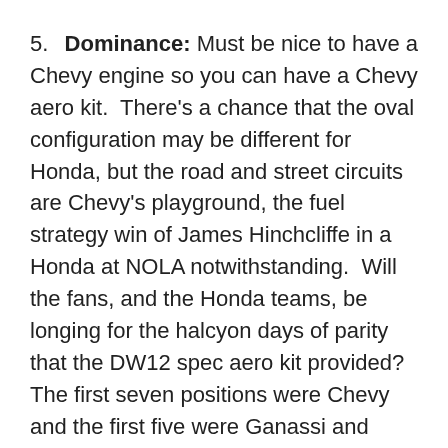5.  Dominance: Must be nice to have a Chevy engine so you can have a Chevy aero kit.  There's a chance that the oval configuration may be different for Honda, but the road and street circuits are Chevy's playground, the fuel strategy win of James Hinchcliffe in a Honda at NOLA notwithstanding.  Will the fans, and the Honda teams, be longing for the halcyon days of parity that the DW12 spec aero kit provided?  The first seven positions were Chevy and the first five were Ganassi and Penske.  As The Who sang many years ago, “Meet the new boss. Same as the old boss.”
The negatives did not exactly outweigh the positives at the Toyota Grand Prix of Long Beach.  In fact, some might say that the esoteric nature of strategy and aero made a race like Long Beach sublime.  Tell those esoterics that IndyCar